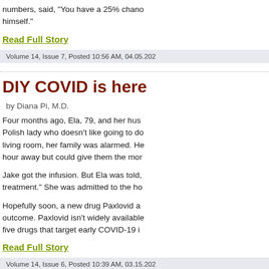numbers, said, "You have a 25% chano himself."
Read Full Story
Volume 14, Issue 7, Posted 10:56 AM, 04.05.202
DIY COVID is here
by Diana Pi, M.D.
Four months ago, Ela, 79, and her hus Polish lady who doesn't like going to do living room, her family was alarmed. He hour away but could give them the mor
Jake got the infusion. But Ela was told, treatment." She was admitted to the ho
Hopefully soon, a new drug Paxlovid a outcome. Paxlovid isn't widely available five drugs that target early COVID-19 i
Read Full Story
Volume 14, Issue 6, Posted 10:39 AM, 03.15.202